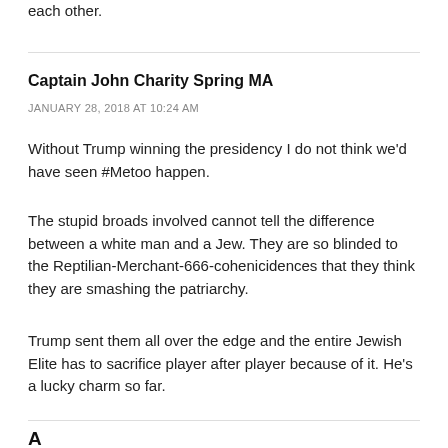each other.
Captain John Charity Spring MA
JANUARY 28, 2018 AT 10:24 AM
Without Trump winning the presidency I do not think we'd have seen #Metoo happen.
The stupid broads involved cannot tell the difference between a white man and a Jew. They are so blinded to the Reptilian-Merchant-666-cohenicidences that they think they are smashing the patriarchy.
Trump sent them all over the edge and the entire Jewish Elite has to sacrifice player after player because of it. He's a lucky charm so far.